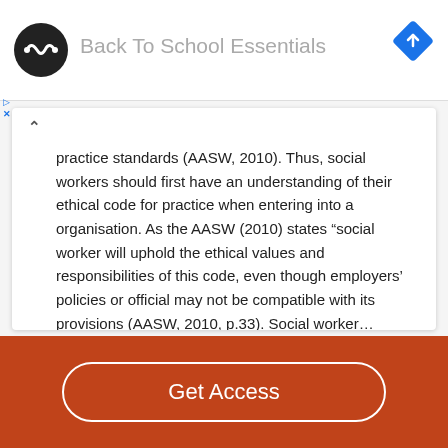[Figure (logo): Black circular logo with white infinity/loop symbol, next to 'Back To School Essentials' ad banner text, with blue diamond navigation icon top right]
practice standards (AASW, 2010). Thus, social workers should first have an understanding of their ethical code for practice when entering into a organisation. As the AASW (2010) states “social worker will uphold the ethical values and responsibilities of this code, even though employers’ policies or official may not be compatible with its provisions (AASW, 2010, p.33). Social worker…
Read More
Get Access